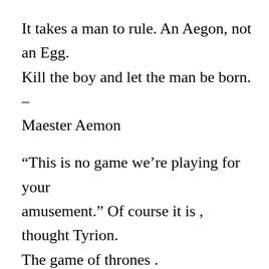It takes a man to rule. An Aegon, not an Egg. Kill the boy and let the man be born. – Maester Aemon
“This is no game we’re playing for your amusement.” Of course it is , thought Tyrion. The game of thrones .
“The night is dark and full of turnips,” he announced in a solemn voice. “Let us all pray for venison, my children, with some onions